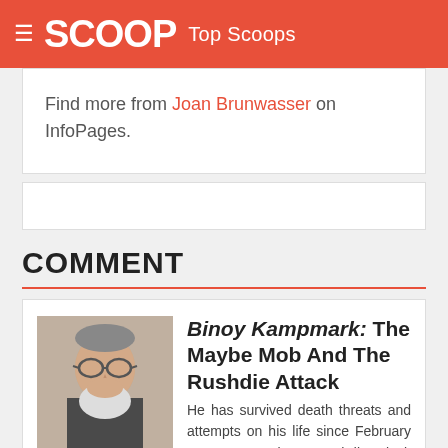SCOOP Top Scoops
Find more from Joan Brunwasser on InfoPages.
COMMENT
[Figure (photo): Headshot photo of an older man with glasses and white beard, wearing a dark jacket]
Binoy Kampmark: The Maybe Mob And The Rushdie Attack
He has survived death threats and attempts on his life since February 1989. But Salman Rushdie’s luck just about ran out at the Chautauqua Institution, southwest of Buffalo in New York State. On August 12, at a venue